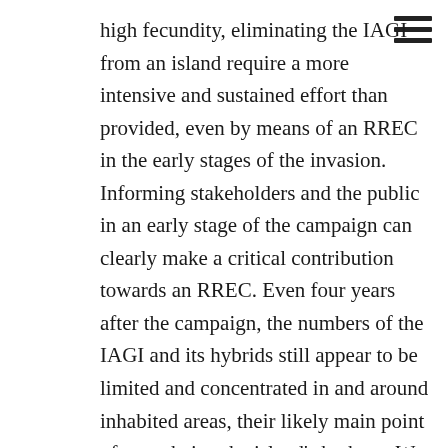high fecundity, eliminating the IAGI from an island require a more intensive and sustained effort than provided, even by means of an RREC in the early stages of the invasion. Informing stakeholders and the public in an early stage of the campaign can clearly make a critical contribution towards an RREC. Even four years after the campaign, the numbers of the IAGI and its hybrids still appear to be limited and concentrated in and around inhabited areas, their likely main point of entry being the island’s harbour. We conclude that it may not be too late to quell the invasion before the critically endangered, largest surviving island-endemic vertebrate is permanently lost from St. Eustatius. Additional IAGI extermination campaigns need to be launched as soon as possible. The harbour of St. Maarten was identified as the source on the most recent 2020 introduction. As St. Maarten serves as a major inter-island trans-shipment hub in the Lesser Antilles, and the Lesser